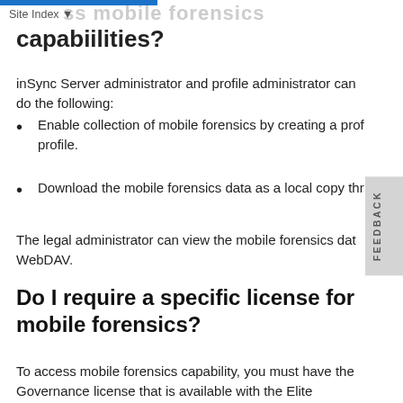Site Index
capabilities?
inSync Server administrator and profile administrator can do the following:
Enable collection of mobile forensics by creating a profile.
Download the mobile forensics data as a local copy through WebDAV.
The legal administrator can view the mobile forensics data through WebDAV.
Do I require a specific license for mobile forensics?
To access mobile forensics capability, you must have the Governance license that is available with the Elite